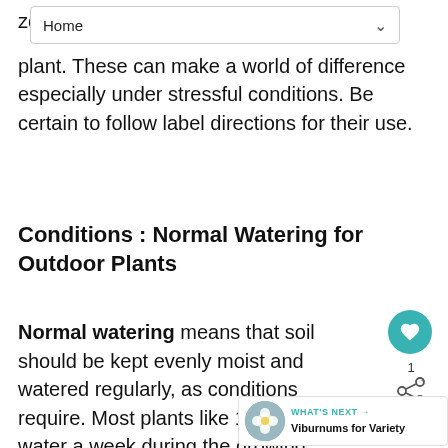Home
zo... e plant. These can make a world of difference especially under stressful conditions. Be certain to follow label directions for their use.
Conditions : Normal Watering for Outdoor Plants
Normal watering means that soil should be kept evenly moist and watered regularly, as conditions require. Most plants like 1 inch of water a week during the growing sea... take care not to over water. The first two years after a plant is installed, regular watering is
[Figure (other): What's Next navigation bar showing Viburnums for Variety with a thumbnail image]
[Figure (other): Floating heart/favorite button in teal circle with share icon and count of 1]